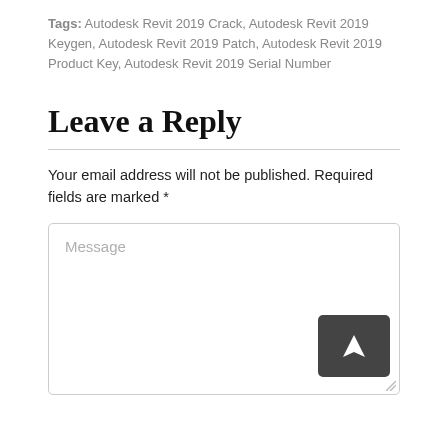Tags: Autodesk Revit 2019 Crack, Autodesk Revit 2019 Keygen, Autodesk Revit 2019 Patch, Autodesk Revit 2019 Product Key, Autodesk Revit 2019 Serial Number
Leave a Reply
Your email address will not be published. Required fields are marked *
Message